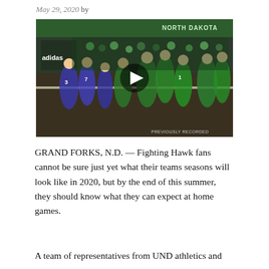May 29, 2020 by
[Figure (photo): Volleyball players in green UND Fighting Hawks uniforms celebrating at net against blue-uniformed opponents, indoor arena with green-clad fans and band visible. PREVIOUSLY RECORDED watermark.]
GRAND FORKS, N.D. — Fighting Hawk fans cannot be sure just yet what their teams seasons will look like in 2020, but by the end of this summer, they should know what they can expect at home games.
A team of representatives from UND athletics and